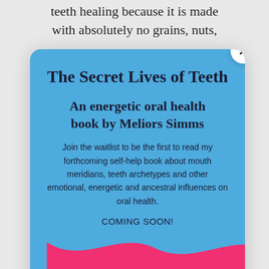teeth healing because it is made with absolutely no grains, nuts,
The Secret Lives of Teeth
An energetic oral health book by Meliors Simms
Join the waitlist to be the first to read my forthcoming self-help book about mouth meridians, teeth archetypes and other emotional, energetic and ancestral influences on oral health.
COMING SOON!
Name